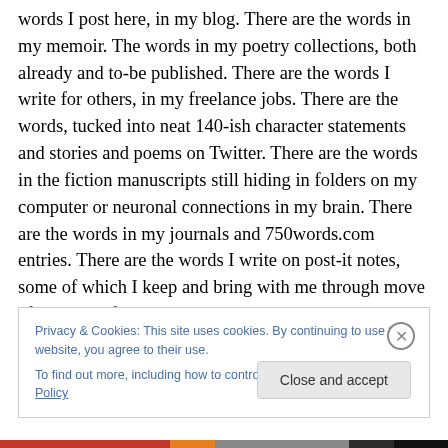words I post here, in my blog. There are the words in my memoir. The words in my poetry collections, both already and to-be published. There are the words I write for others, in my freelance jobs. There are the words, tucked into neat 140-ish character statements and stories and poems on Twitter. There are the words in the fiction manuscripts still hiding in folders on my computer or neuronal connections in my brain. There are the words in my journals and 750words.com entries. There are the words I write on post-it notes, some of which I keep and bring with me through move after move after move, while others I throw
Privacy & Cookies: This site uses cookies. By continuing to use this website, you agree to their use.
To find out more, including how to control cookies, see here: Cookie Policy
Close and accept